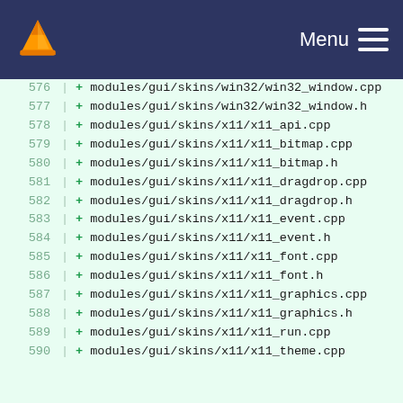VLC Menu
576 + modules/gui/skins/win32/win32_window.cpp
577 + modules/gui/skins/win32/win32_window.h
578 + modules/gui/skins/x11/x11_api.cpp
579 + modules/gui/skins/x11/x11_bitmap.cpp
580 + modules/gui/skins/x11/x11_bitmap.h
581 + modules/gui/skins/x11/x11_dragdrop.cpp
582 + modules/gui/skins/x11/x11_dragdrop.h
583 + modules/gui/skins/x11/x11_event.cpp
584 + modules/gui/skins/x11/x11_event.h
585 + modules/gui/skins/x11/x11_font.cpp
586 + modules/gui/skins/x11/x11_font.h
587 + modules/gui/skins/x11/x11_graphics.cpp
588 + modules/gui/skins/x11/x11_graphics.h
589 + modules/gui/skins/x11/x11_run.cpp
590 + modules/gui/skins/x11/x11_theme.cpp